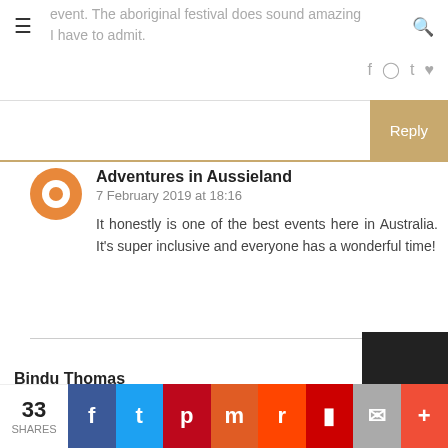event. The aboriginal festival does sound amazing I have to admit.
Adventures in Aussieland
7 February 2019 at 18:16
It honestly is one of the best events here in Australia. It's super inclusive and everyone has a wonderful time!
Bindu Thomas
7 February 2019 at 17:15
Australia has been on my wish list for years. I love to go there on all these events. Thanks for the information.
33 SHARES